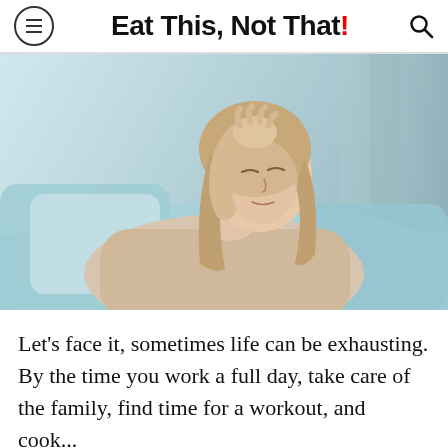Eat This, Not That!
[Figure (photo): A tired young woman with long blonde hair resting on a light blue couch, hand on her head, eyes closed, wearing a beige knit sweater.]
Let's face it, sometimes life can be exhausting. By the time you work a full day, take care of the family, find time for a workout, and cook...